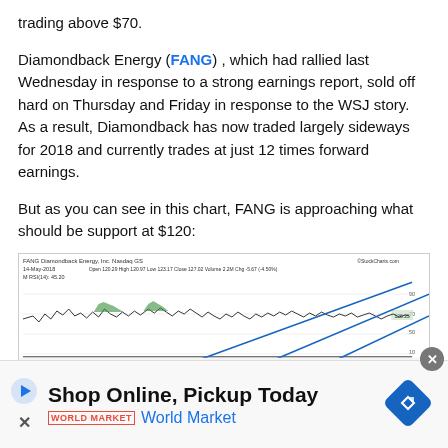trading above $70.
Diamondback Energy (FANG) , which had rallied last Wednesday in response to a strong earnings report, sold off hard on Thursday and Friday in response to the WSJ story. As a result, Diamondback has now traded largely sideways for 2018 and currently trades at just 12 times forward earnings.
But as you can see in this chart, FANG is approaching what should be support at $120:
[Figure (continuous-plot): Stock chart of FANG (Diamondback Energy, Inc., Nasdaq GS) showing price history with blue diagonal support/resistance trend lines. Header shows: Open 120.29, High 120.97, Low 123.17, Close 127.02, Volume 2.2M, Chg -5.67 (-4.50%). RSI(14): 45.20. Chart shows price oscillating with support line around $120. MA lines visible at bottom.]
Shop Online, Pickup Today
World Market